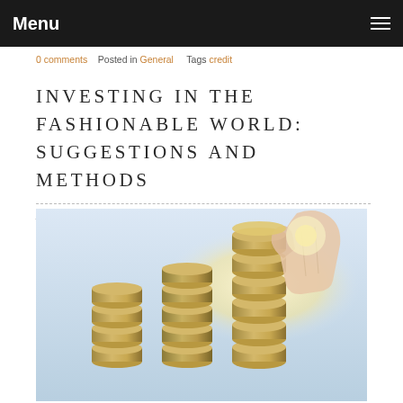Menu
0 comments   Posted in General   Tags credit
INVESTING IN THE FASHIONABLE WORLD: SUGGESTIONS AND METHODS
August 29, 2020
[Figure (photo): Stacked coins with a hand placing a coin on top, backlit by sunlight, representing investment and financial growth]